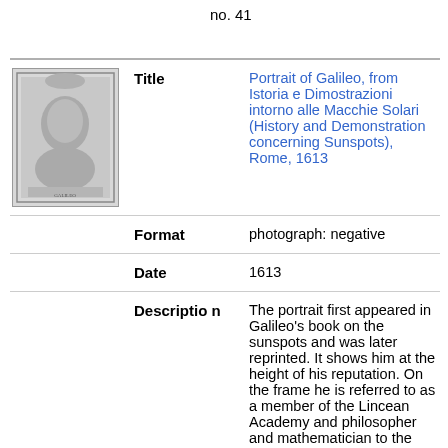no. 41
| (thumb) | Field | Value |
| --- | --- | --- |
| [portrait image] | Title | Portrait of Galileo, from Istoria e Dimostrazioni intorno alle Macchie Solari (History and Demonstration concerning Sunspots), Rome, 1613 |
|  | Format | photograph: negative |
|  | Date | 1613 |
|  | Description | The portrait first appeared in Galileo's book on the sunspots and was later reprinted. It shows him at the height of his reputation. On the frame he is referred to as a member of the Lincean Academy and philosopher and mathematician to the Grand Duke of Tuscany (Cosimo II de' Medici). The two cherubs above hold instruments used and perfected by Galileo for his studies and experiments: on the left, the military |